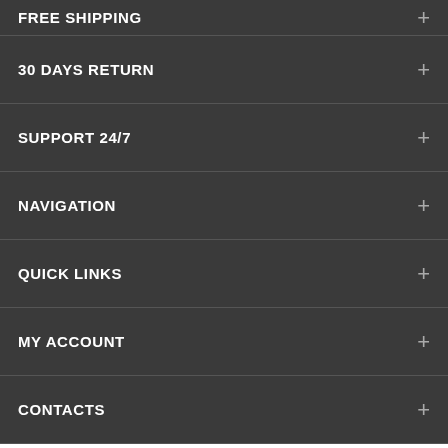FREE SHIPPING
30 DAYS RETURN
SUPPORT 24/7
NAVIGATION
QUICK LINKS
MY ACCOUNT
CONTACTS
[Figure (logo): Green SSL padlock badge and blue PCI badge icons]